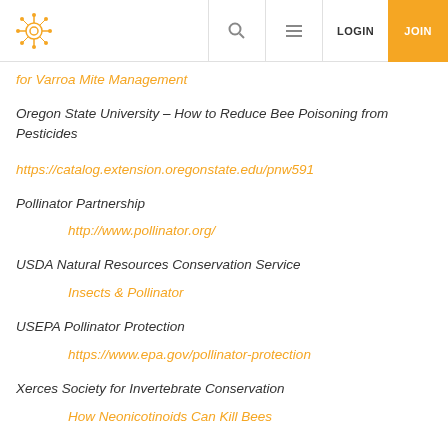LOGIN JOIN
for Varroa Mite Management
Oregon State University – How to Reduce Bee Poisoning from Pesticides
https://catalog.extension.oregonstate.edu/pnw591
Pollinator Partnership
http://www.pollinator.org/
USDA Natural Resources Conservation Service
Insects & Pollinator
USEPA Pollinator Protection
https://www.epa.gov/pollinator-protection
Xerces Society for Invertebrate Conservation
How Neonicotinoids Can Kill Bees